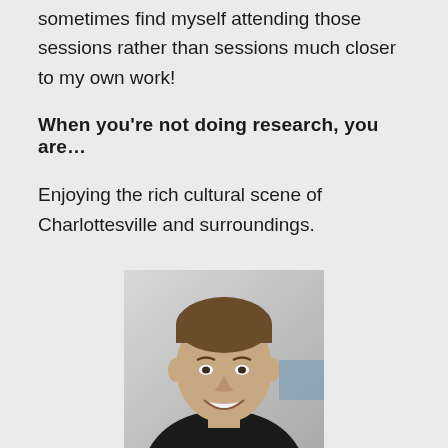sometimes find myself attending those sessions rather than sessions much closer to my own work!
When you're not doing research, you are…
Enjoying the rich cultural scene of Charlottesville and surroundings.
[Figure (photo): Headshot of a young smiling man with short brown hair, wearing a dark shirt, photographed in a bright indoor setting]